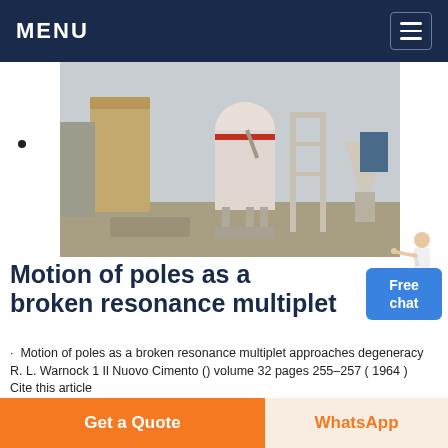MENU
[Figure (photo): Industrial milling/grinding equipment and silos outdoors at a facility]
Motion of poles as a broken resonance multiplet
Motion of poles as a broken resonance multiplet approaches degeneracy R. L. Warnock 1 Il Nuovo Cimento () volume 32 pages 255–257 ( 1964 ) Cite this article
Chat Online
[Figure (photo): Another industrial equipment image partially visible]